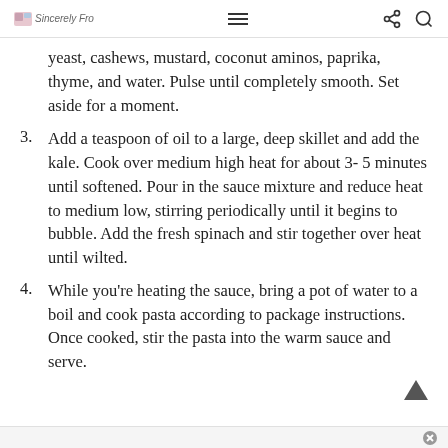Sincerely Fro [logo] [hamburger menu] [share icon] [search icon]
yeast, cashews, mustard, coconut aminos, paprika, thyme, and water. Pulse until completely smooth. Set aside for a moment.
3. Add a teaspoon of oil to a large, deep skillet and add the kale. Cook over medium high heat for about 3- 5 minutes until softened. Pour in the sauce mixture and reduce heat to medium low, stirring periodically until it begins to bubble. Add the fresh spinach and stir together over heat until wilted.
4. While you're heating the sauce, bring a pot of water to a boil and cook pasta according to package instructions. Once cooked, stir the pasta into the warm sauce and serve.